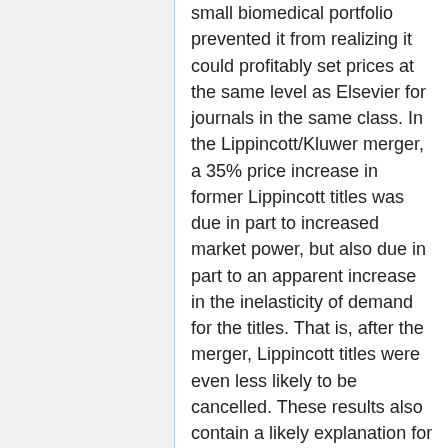small biomedical portfolio prevented it from realizing it could profitably set prices at the same level as Elsevier for journals in the same class. In the Lippincott/Kluwer merger, a 35% price increase in former Lippincott titles was due in part to increased market power, but also due in part to an apparent increase in the inelasticity of demand for the titles. That is, after the merger, Lippincott titles were even less likely to be cancelled. These results also contain a likely explanation for the persistent journal price inflation observed in most academic fields.10 The sensitivity of library demand to price increases is very small by